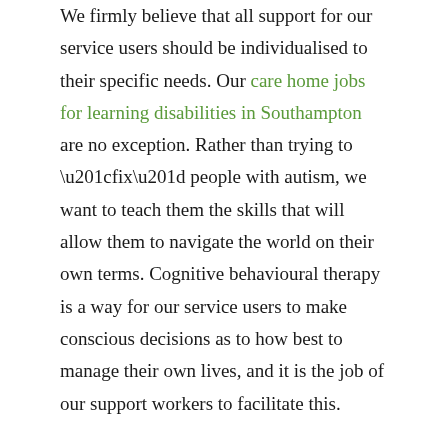We firmly believe that all support for our service users should be individualised to their specific needs. Our care home jobs for learning disabilities in Southampton are no exception. Rather than trying to “fix” people with autism, we want to teach them the skills that will allow them to navigate the world on their own terms. Cognitive behavioural therapy is a way for our service users to make conscious decisions as to how best to manage their own lives, and it is the job of our support workers to facilitate this.
Evidence shows that cognitive behavioural therapy is an effective way to manage a variety of conditions. Not only can it alleviate some of the anxiety often associated with autism, but it can also help people